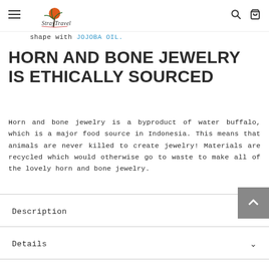StrayTravel navigation header with hamburger menu, logo, search and cart icons
shape with JOJOBA OIL.
HORN AND BONE JEWELRY IS ETHICALLY SOURCED
Horn and bone jewelry is a byproduct of water buffalo, which is a major food source in Indonesia. This means that animals are never killed to create jewelry! Materials are recycled which would otherwise go to waste to make all of the lovely horn and bone jewelry.
Description
Details
Reviews